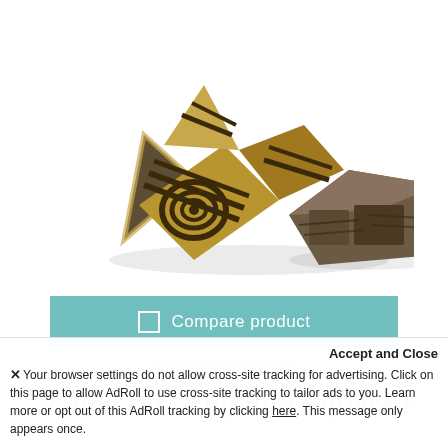[Figure (photo): Two patterned wooden sculpture blocks with geometric gold and dark stripe patterns, star/angular shapes, photographed on white background]
Compare product
EKKO WORKSHOP
Patterned Sculpture Squared
Accept and Close
✕ Your browser settings do not allow cross-site tracking for advertising. Click on this page to allow AdRoll to use cross-site tracking to tailor ads to you. Learn more or opt out of this AdRoll tracking by clicking here. This message only appears once.